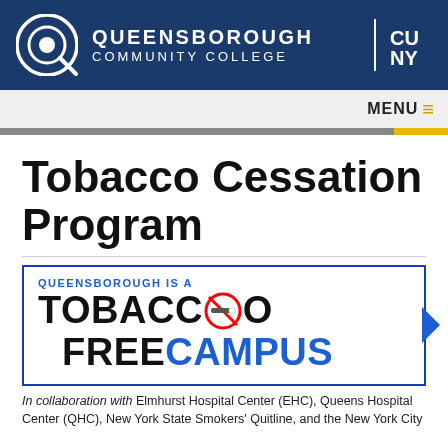QUEENSBOROUGH COMMUNITY COLLEGE | CUNY
Tobacco Cessation Program
[Figure (logo): Queensborough is a Tobacco Free Campus logo with no-smoking symbol]
In collaboration with Elmhurst Hospital Center (EHC), Queens Hospital Center (QHC), New York State Smokers' Quitline, and the New York City